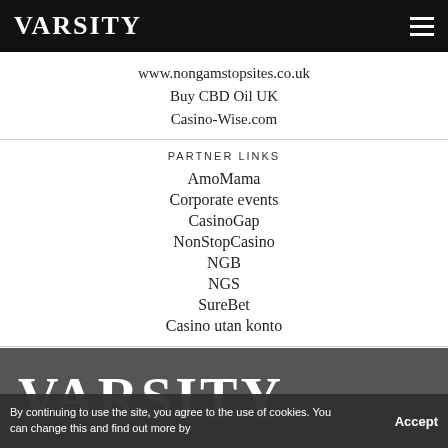VARSITY
www.nongamstopsites.co.uk
Buy CBD Oil UK
Casino-Wise.com
PARTNER LINKS
AmoMama
Corporate events
CasinoGap
NonStopCasino
NGB
NGS
SureBet
Casino utan konto
BACK TO TOP
VARSITY
By continuing to use the site, you agree to the use of cookies. You can change this and find out more by